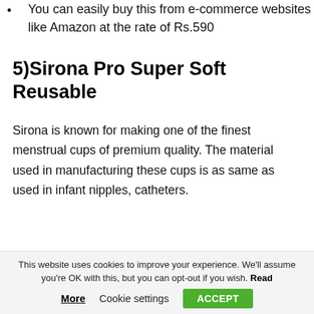You can easily buy this from e-commerce websites like Amazon at the rate of Rs.590
5)Sirona Pro Super Soft Reusable
Sirona is known for making one of the finest menstrual cups of premium quality. The material used in manufacturing these cups is as same as used in infant nipples, catheters.
[Figure (photo): Partial view of a product box/packaging at the bottom of the page]
This website uses cookies to improve your experience. We'll assume you're OK with this, but you can opt-out if you wish. Read More   Cookie settings   ACCEPT